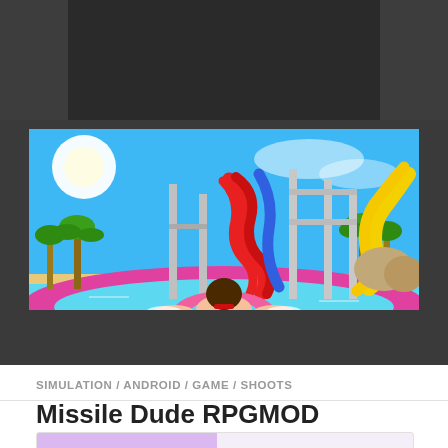[Figure (screenshot): Dark header bar at top of webpage with grey background]
[Figure (photo): Screenshot of a water park game showing colorful water slides (red, blue, yellow) against a blue sky with palm trees and a cartoon character floating on a pink inner tube in a pool with pink/cyan water]
SIMULATION / ANDROID / GAME / SHOOTS
Missile Dude RPG​MOD (Unlimited Money/Nitro) v3.5.5016​
[Figure (screenshot): Partial thumbnail image showing colorful game art with purple and green tones, appears to be the Missile Dude RPG game icon]